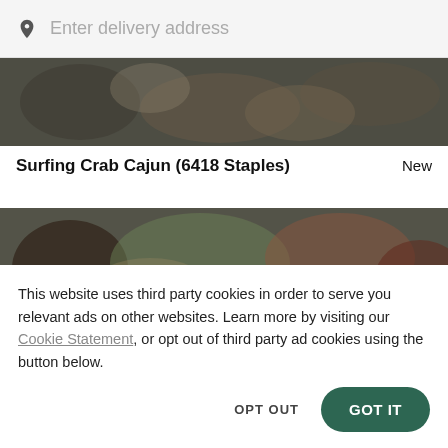Enter delivery address
[Figure (photo): Top-down view of various food dishes including seafood and sides, dark toned image]
Surfing Crab Cajun (6418 Staples)
New
[Figure (photo): Top-down view of food dishes including salad, meat, and sides on a table, dark toned image]
This website uses third party cookies in order to serve you relevant ads on other websites. Learn more by visiting our Cookie Statement, or opt out of third party ad cookies using the button below.
OPT OUT
GOT IT